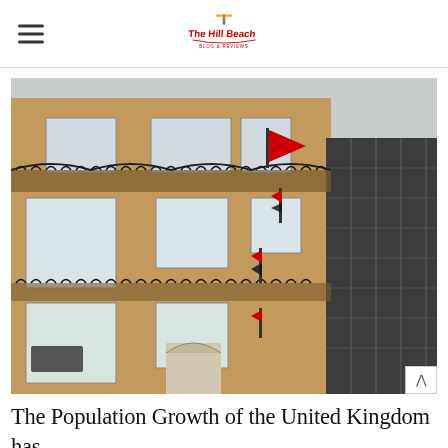The Hill Beach [logo]
[Figure (photo): Exterior of a classic brick building with ornate iron balconies and red flags hanging from upper floors, with a modern dark glass building visible at the right edge. Photo taken from a low angle looking up.]
The Population Growth of the United Kingdom has